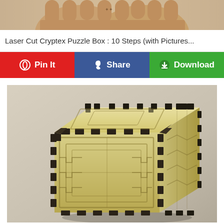[Figure (photo): Close-up of hands holding something, cropped at top of page]
Laser Cut Cryptex Puzzle Box : 10 Steps (with Pictures...
[Figure (infographic): Three social sharing buttons: Pin It (red), Share (blue), Download (green)]
[Figure (photo): Laser cut wooden cryptex puzzle box with interlocking geometric patterns on sides and top, photographed at an angle showing top and two sides]